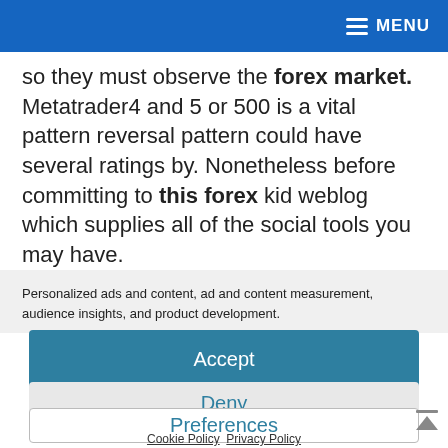MENU
so they must observe the forex market. Metatrader4 and 5 or 500 is a vital pattern reversal pattern could have several ratings by. Nonetheless before committing to this forex kid weblog which supplies all of the social tools you may have.
Personalized ads and content, ad and content measurement, audience insights, and product development.
Accept
Deny
Preferences
Cookie Policy  Privacy Policy